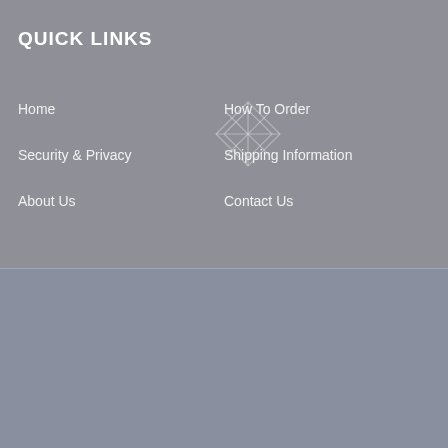QUICK LINKS
Home
How To Order
Security & Privacy
Shipping Information
About Us
Contact Us
© 2022 beadsvenue.com.au All Rights Reserved.
[Figure (logo): Preciosa Authorized Partner logo — white rectangle with a diamond wireframe illustration above the text PRECIOSA AUTHORIZED PARTNER]
[Figure (logo): Facebook social media icon — blue square with white letter f]